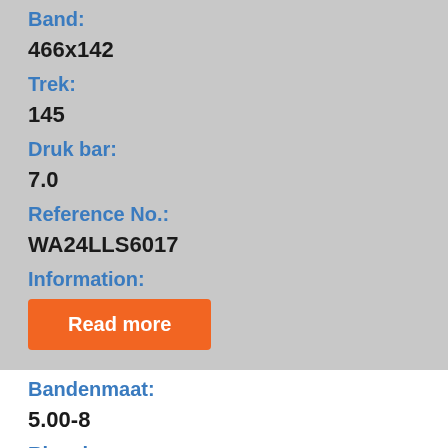Band:
466x142
Trek:
145
Druk bar:
7.0
Reference No.:
WA24LLS6017
Information:
Read more
Bandenmaat:
5.00-8
Rim size: